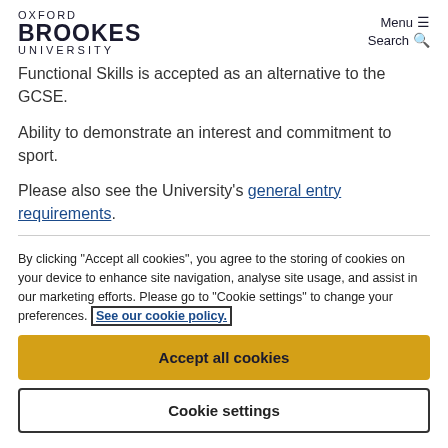Oxford Brookes University | Menu | Search
Functional Skills is accepted as an alternative to the GCSE.
Ability to demonstrate an interest and commitment to sport.
Please also see the University's general entry requirements.
By clicking "Accept all cookies", you agree to the storing of cookies on your device to enhance site navigation, analyse site usage, and assist in our marketing efforts. Please go to "Cookie settings" to change your preferences. See our cookie policy.
Accept all cookies
Cookie settings